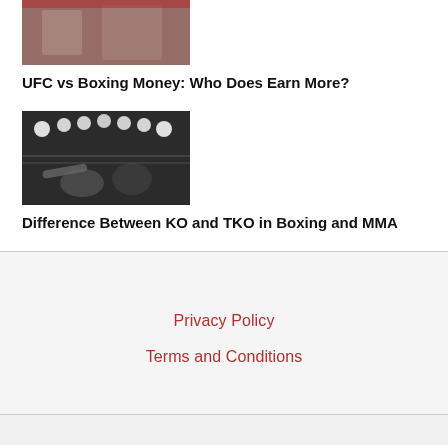[Figure (photo): Boxing/UFC match image at top]
UFC vs Boxing Money: Who Does Earn More?
[Figure (photo): Black and white boxing/MMA fight image with overhead lights and fighters]
Difference Between KO and TKO in Boxing and MMA
Privacy Policy
Terms and Conditions